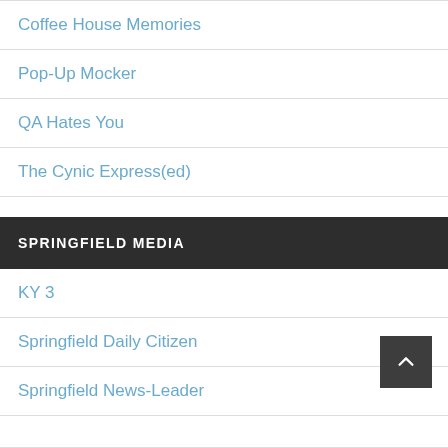Coffee House Memories
Pop-Up Mocker
QA Hates You
The Cynic Express(ed)
SPRINGFIELD MEDIA
KY 3
Springfield Daily Citizen
Springfield News-Leader